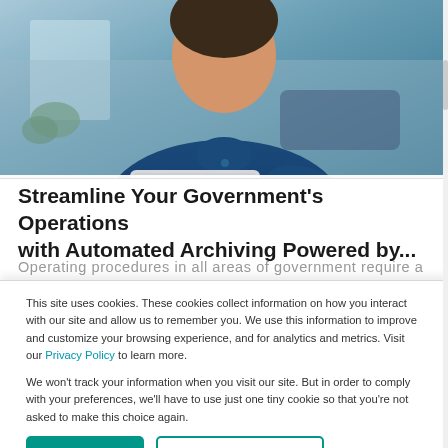[Figure (photo): Photo of a person in a dark blue shirt sitting at a desk with a laptop, in an office environment]
Streamline Your Government's Operations with Automated Archiving Powered by...
Operating procedures in all areas of government require a
This site uses cookies. These cookies collect information on how you interact with our site and allow us to remember you. We use this information to improve and customize your browsing experience, and for analytics and metrics. Visit our Privacy Policy to learn more.

We won't track your information when you visit our site. But in order to comply with your preferences, we'll have to use just one tiny cookie so that you're not asked to make this choice again.